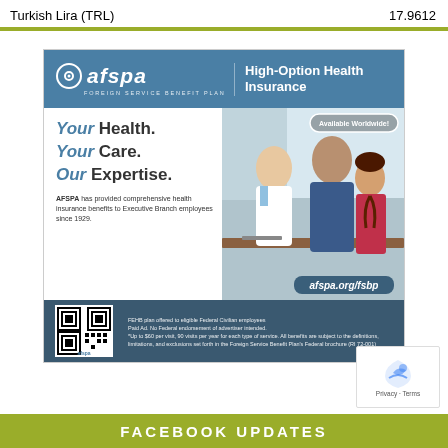Turkish Lira (TRL)    17.9612
[Figure (illustration): AFSPA Foreign Service Benefit Plan advertisement. High-Option Health Insurance, Available Worldwide. Logo with afspa text, photo of doctor with father and child, taglines: Your Health. Your Care. Our Expertise. AFSPA has provided comprehensive health insurance benefits to Executive Branch employees since 1929. URL: afspa.org/fsbp. QR code. Bottom text: FEHB plan offered to eligible Federal Civilian employees. Paid Ad. No Federal endorsement of advertiser intended. Up to $60 per visit, 90 visits per year for each type of service. All benefits are subject to the definitions, limitations, and exclusions set forth in the Foreign Service Benefit Plan's Federal brochure (RI 72-001)]
FACEBOOK UPDATES